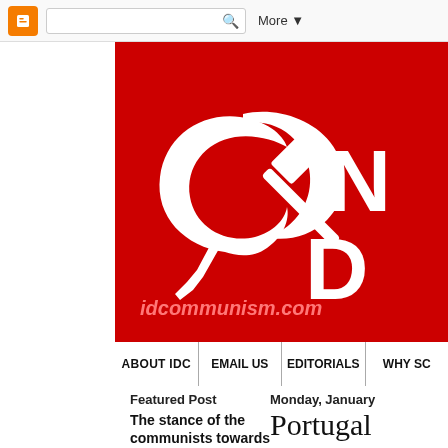[Figure (screenshot): Blogger top navigation bar with orange B logo, search box, and More dropdown button]
[Figure (illustration): Red banner with white hammer and sickle symbol on left, large white text 'IN D' on right, and idcommunism.com URL text in pink/red italic at bottom left]
ABOUT IDC | EMAIL US | EDITORIALS | WHY SO
Featured Post
Monday, January
The stance of the communists towards
Portugal